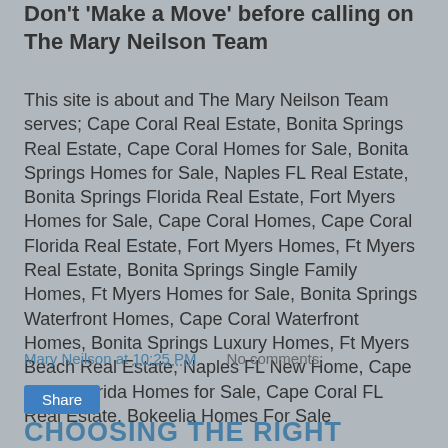Don't 'Make a Move' before calling on The Mary Neilson Team
This site is about and The Mary Neilson Team serves; Cape Coral Real Estate, Bonita Springs Real Estate, Cape Coral Homes for Sale, Bonita Springs Homes for Sale, Naples FL Real Estate, Bonita Springs Florida Real Estate, Fort Myers Homes for Sale, Cape Coral Homes, Cape Coral Florida Real Estate, Fort Myers Homes, Ft Myers Real Estate, Bonita Springs Single Family Homes, Ft Myers Homes for Sale, Bonita Springs Waterfront Homes, Cape Coral Waterfront Homes, Bonita Springs Luxury Homes, Ft Myers Beach Real Estate, Naples FL New Home, Cape Coral Florida Homes for Sale, Cape Coral FL Real Estate, Bokeelia Homes For Sale
Mary Neilson at 10:25 PM   No comments:
Share
CHOOSING THE RIGHT REALTOR